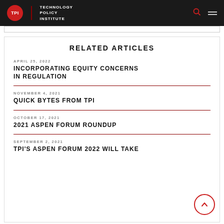TPI Technology Policy Institute
RELATED ARTICLES
APRIL 25, 2022
INCORPORATING EQUITY CONCERNS IN REGULATION
NOVEMBER 4, 2021
QUICK BYTES FROM TPI
OCTOBER 17, 2021
2021 ASPEN FORUM ROUNDUP
SEPTEMBER 2, 2021
TPI'S ASPEN FORUM 2022 WILL TAKE